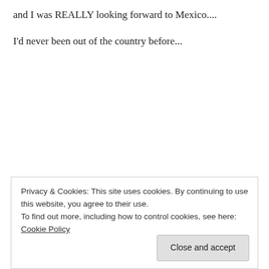and I was REALLY looking forward to Mexico....
I'd never been out of the country before...
The only real bummer about the day was that I had to work all week to scrape up the money to go on the trip, and I had no time to pack...
Privacy & Cookies: This site uses cookies. By continuing to use this website, you agree to their use.
To find out more, including how to control cookies, see here: Cookie Policy
Close and accept